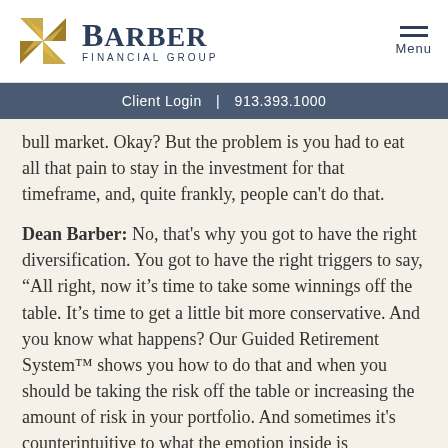Barber Financial Group | Client Login | 913.393.1000
bull market. Okay? But the problem is you had to eat all that pain to stay in the investment for that timeframe, and, quite frankly, people can't do that.
Dean Barber: No, that's why you got to have the right diversification. You got to have the right triggers to say, “All right, now it’s time to take some winnings off the table. It’s time to get a little bit more conservative. And you know what happens? Our Guided Retirement System™ shows you how to do that and when you should be taking the risk off the table or increasing the amount of risk in your portfolio. And sometimes it's counterintuitive to what the emotion inside is